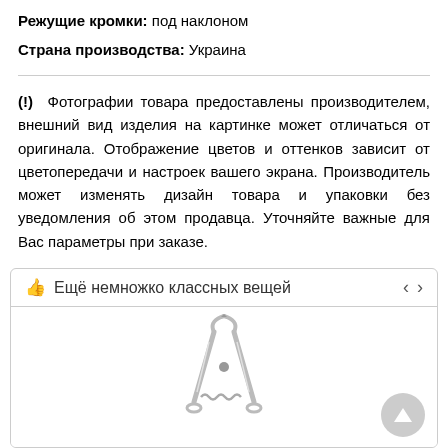Режущие кромки: под наклоном
Страна производства: Украина
(!) Фотографии товара предоставлены производителем, внешний вид изделия на картинке может отличаться от оригинала. Отображение цветов и оттенков зависит от цветопередачи и настроек вашего экрана. Производитель может изменять дизайн товара и упаковки без уведомления об этом продавца. Уточняйте важные для Вас параметры при заказе.
[Figure (screenshot): Widget section titled 'Ещё немножко классных вещей' with navigation arrows and a product image of nail nippers/cuticle cutters tool, silver metallic, with a scroll-up button in the bottom right corner.]